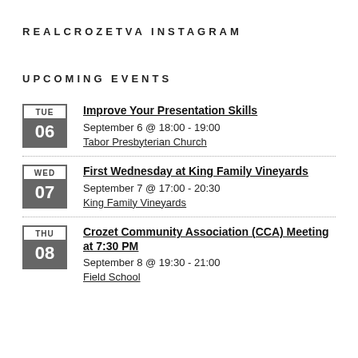REALCROZETVA INSTAGRAM
UPCOMING EVENTS
TUE 06 | Improve Your Presentation Skills | September 6 @ 18:00 - 19:00 | Tabor Presbyterian Church
WED 07 | First Wednesday at King Family Vineyards | September 7 @ 17:00 - 20:30 | King Family Vineyards
THU 08 | Crozet Community Association (CCA) Meeting at 7:30 PM | September 8 @ 19:30 - 21:00 | Field School